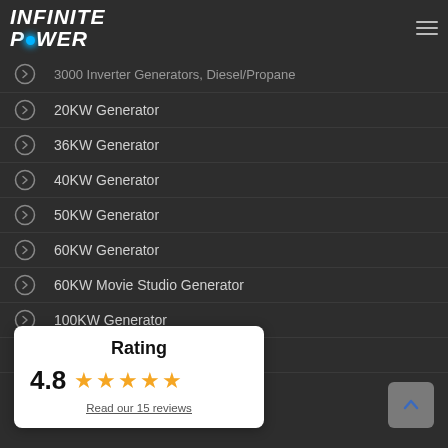Infinite Power
3000 Inverter Generators, Diesel/Propane
20KW Generator
36KW Generator
40KW Generator
50KW Generator
60KW Generator
60KW Movie Studio Generator
100KW Generator
100KW Movie Studio Generator
[Figure (infographic): Rating card with 4.8 stars and link to 15 reviews]